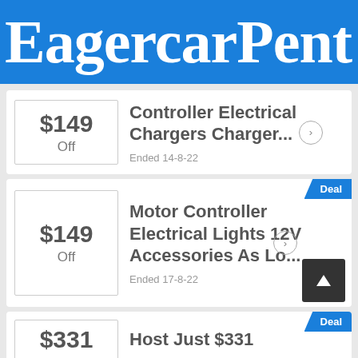EagercarPent
$149 Off
Controller Electrical Chargers Charger...
Ended 14-8-22
$149 Off
Motor Controller Electrical Lights 12V Accessories As Lo...
Ended 17-8-22
$331
Host Just $331